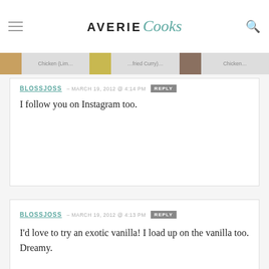AVERIE Cooks
[Figure (screenshot): Navigation image strip with food photos and truncated labels: Chicken (Lim..., ...fried Curry)... Chicken...]
BLOSSJOSS – MARCH 19, 2012 @ 4:14 PM REPLY
I follow you on Instagram too.
BLOSSJOSS – MARCH 19, 2012 @ 4:13 PM REPLY
I'd love to try an exotic vanilla! I load up on the vanilla too. Dreamy.
JEN @ JUANITA'S COCINA – MARCH 19, 2012 @ 4:13 PM REPLY
Liked LorAnn Oils on FB!